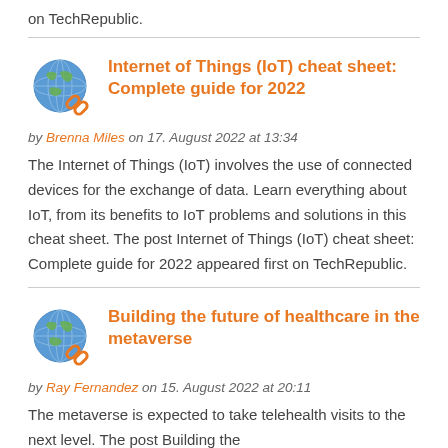on TechRepublic.
Internet of Things (IoT) cheat sheet: Complete guide for 2022
by Brenna Miles on 17. August 2022 at 13:34
The Internet of Things (IoT) involves the use of connected devices for the exchange of data. Learn everything about IoT, from its benefits to IoT problems and solutions in this cheat sheet. The post Internet of Things (IoT) cheat sheet: Complete guide for 2022 appeared first on TechRepublic.
Building the future of healthcare in the metaverse
by Ray Fernandez on 15. August 2022 at 20:11
The metaverse is expected to take telehealth visits to the next level. The post Building the